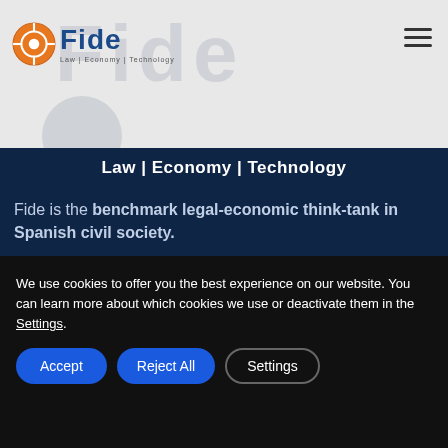Fide — Law | Economy | Technology
Law | Economy | Technology
Fide is the benchmark legal-economic think-tank in Spanish civil society.
Its vocation is to provide efficient and effective solutions in legal, economic, technological and scientific matters.
CONTACT
We use cookies to offer you the best experience on our website. You can learn more about which cookies we use or deactivate them in the Settings.
Accept | Reject All | Settings